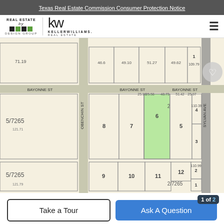Texas Real Estate Commission Consumer Protection Notice
[Figure (logo): Real Estate by Design Group and Keller Williams Real Estate logos]
[Figure (map): Plat map showing lots in a subdivision with streets BAYONNE ST and OBENCHIN ST and SYLVAN AVE. Lot 2/7265 highlighted in green (Lot 6), other lots numbered 1-12 and 5/7265. Various dimension measurements shown.]
Take a Tour
Ask A Question
1 of 2